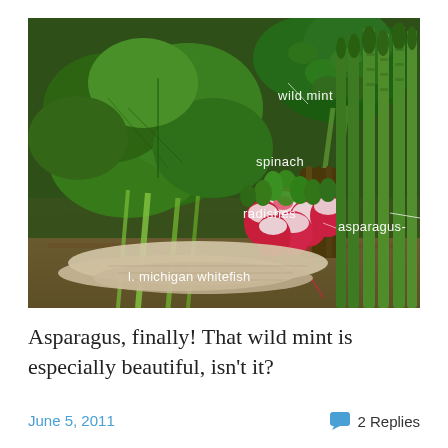[Figure (photo): A photograph of fresh vegetables and fish arranged on a wooden surface, with white handwritten-style labels: spinach (large green leaves on left), wild mint (leafy herbs top center-right), radishes (red and white bulb vegetables center), asparagus (green spears on right), and l. michigan whitefish (pale fish fillets at bottom).]
Asparagus, finally! That wild mint is especially beautiful, isn't it?
June 5, 2011    2 Replies